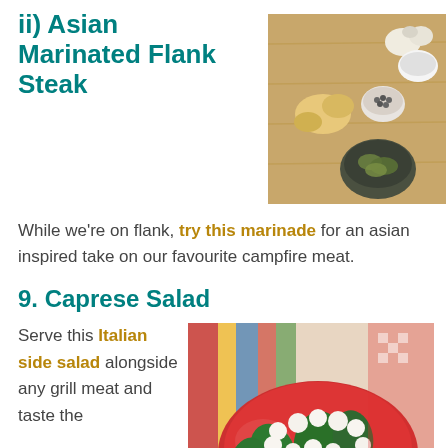ii) Asian Marinated Flank Steak
[Figure (photo): Overhead view of spices and ingredients on a wooden cutting board including garlic, salt, ginger, peppercorns, and herbs]
While we're on flank, try this marinade for an asian inspired take on our favourite campfire meat.
9. Caprese Salad
Serve this Italian side salad alongside any grill meat and taste the
[Figure (photo): Caprese salad with fresh mozzarella balls, tomatoes, and basil leaves on a colorful striped tablecloth]